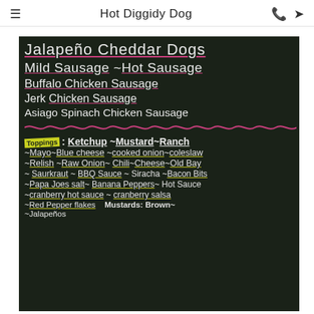Hot Diggidy Dog
[Figure (photo): Chalkboard menu for Hot Diggidy Dog food stand showing sausage options and toppings list written in chalk on a dark background. Menu items include: Jalapeño Cheddar Dogs, Mild Sausage, Hot Sausage, Buffalo Chicken Sausage, Jerk Chicken Sausage, Asiago Spinach Chicken Sausage. Toppings: Ketchup, Mustard, Ranch, Mayo, Blue Cheese, Cooked Onion, Coleslaw, Relish, Raw Onion, Chili, Cheese, Old Bay, Saurkraut, BBQ Sauce, Siracha, Bacon Bits, Papa Joes salt, Banana Peppers, Hot Sauce, Cranberry hot sauce, Cranberry salsa, Red Pepper flakes, Jalapeños, Mustards: Brown~]